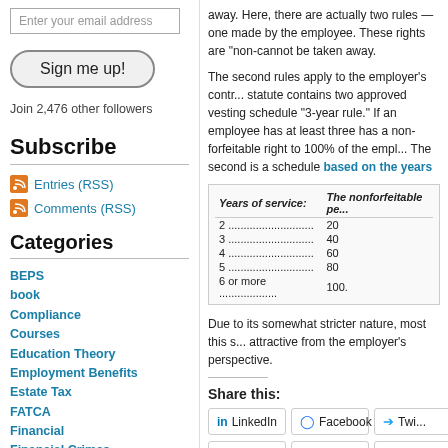Enter your email address
Sign me up!
Join 2,476 other followers
Subscribe
Entries (RSS)
Comments (RSS)
Categories
BEPS
book
Compliance
Courses
Education Theory
Employment Benefits
Estate Tax
FATCA
Financial
Financial Crimes
information exchange
Insurance
international taxation
Legal History
away. Here, there are actually two rules — one made by the employee. These rights are "non-cannot be taken away.
The second rules apply to the employer's contr... statute contains two approved vesting schedule "3-year rule." If an employee has at least three has a non-forfeitable right to 100% of the empl... The second is a schedule based on the years
| Years of service: | The nonforfeitable pe... |
| --- | --- |
| 2 ...................... | 20 |
| 3 ...................... | 40 |
| 4 ...................... | 60 |
| 5 ...................... | 80 |
| 6 or more ............... | 100. |
Due to its somewhat stricter nature, most this s... attractive from the employer's perspective.
Share this:
LinkedIn
Facebook
Twitter
Tumblr
WhatsApp
Reddit
Loading...